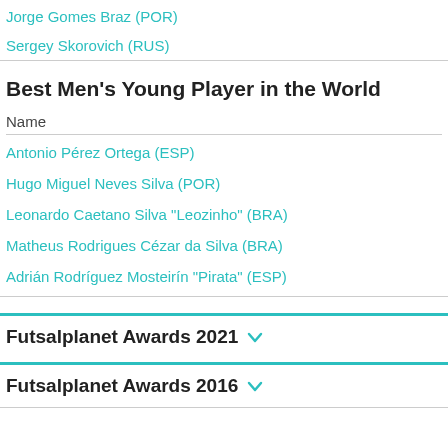Jorge Gomes Braz (POR)
Sergey Skorovich (RUS)
Best Men's Young Player in the World
| Name |
| --- |
| Antonio Pérez Ortega (ESP) |
| Hugo Miguel Neves Silva (POR) |
| Leonardo Caetano Silva "Leozinho" (BRA) |
| Matheus Rodrigues Cézar da Silva (BRA) |
| Adrián Rodríguez Mosteirín "Pirata" (ESP) |
Futsalplanet Awards 2021
Futsalplanet Awards 2016